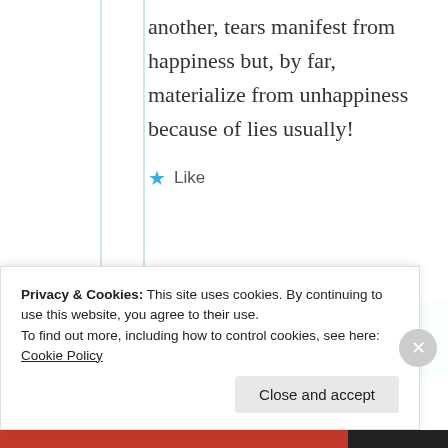another, tears manifest from happiness but, by far, materialize from unhappiness because of lies usually!
Like
Suma Reddy
25th Jun 2021 at
Privacy & Cookies: This site uses cookies. By continuing to use this website, you agree to their use. To find out more, including how to control cookies, see here: Cookie Policy
Close and accept